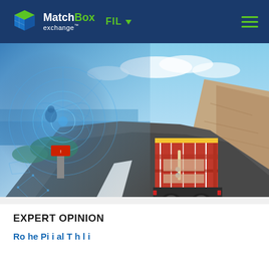MatchBox exchange™ FIL ▼
[Figure (photo): A red shipping container truck driving on a coastal highway road, with a blue digital globe/radar overlay on the left side suggesting logistics technology and global freight tracking.]
EXPERT OPINION
Ro he Pi i al T h l i